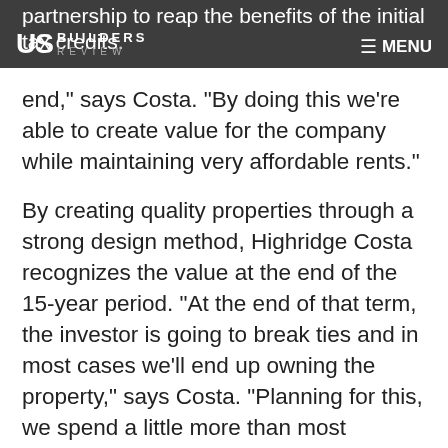US BUILDERS REVIEW | MENU
partnership to reap the benefits of the initial tax credits. We've always had a focus on the back end," says Costa. "By doing this we're able to create value for the company while maintaining very affordable rents."
By creating quality properties through a strong design method, Highridge Costa recognizes the value at the end of the 15-year period. "At the end of that term, the investor is going to break ties and in most cases we'll end up owning the property," says Costa. "Planning for this, we spend a little more than most developers do on quality materials and amenities so we are left with a great product at the end of the 15-year period."